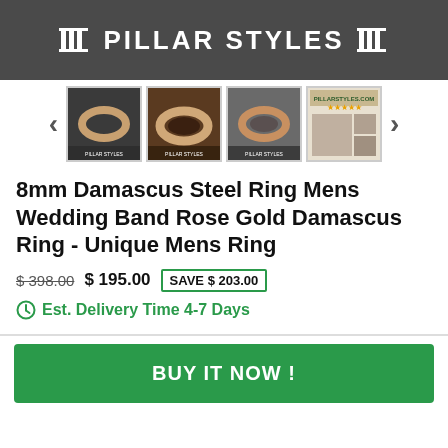[Figure (logo): Pillar Styles brand banner with white pillar/column icons and bold white text on dark gray background]
[Figure (photo): Product image gallery row showing four thumbnail images of a Damascus steel ring with rose gold finish, with left and right navigation arrows]
8mm Damascus Steel Ring Mens Wedding Band Rose Gold Damascus Ring - Unique Mens Ring
$398.00  $195.00  SAVE $203.00
Est. Delivery Time 4-7 Days
BUY IT NOW !